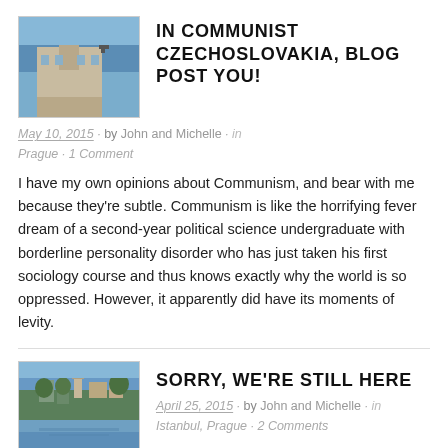[Figure (photo): Photo of a European city building with a dome, a statue on horseback visible, blue sky]
IN COMMUNIST CZECHOSLOVAKIA, BLOG POST YOU!
May 10, 2015 · by John and Michelle · in Prague · 1 Comment
I have my own opinions about Communism, and bear with me because they're subtle. Communism is like the horrifying fever dream of a second-year political science undergraduate with borderline personality disorder who has just taken his first sociology course and thus knows exactly why the world is so oppressed. However, it apparently did have its moments of levity.
[Figure (photo): Photo of Prague castle and river view with trees and buildings]
SORRY, WE'RE STILL HERE
April 25, 2015 · by John and Michelle · in Istanbul, Prague · 2 Comments
I know that you have all been anxiously awaiting our next update...